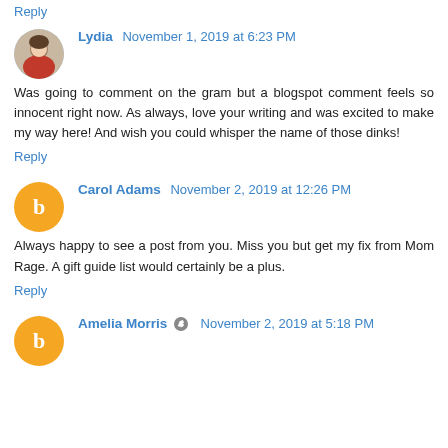Reply
Lydia November 1, 2019 at 6:23 PM
Was going to comment on the gram but a blogspot comment feels so innocent right now. As always, love your writing and was excited to make my way here! And wish you could whisper the name of those dinks!
Reply
Carol Adams November 2, 2019 at 12:26 PM
Always happy to see a post from you. Miss you but get my fix from Mom Rage. A gift guide list would certainly be a plus.
Reply
Amelia Morris November 2, 2019 at 5:18 PM